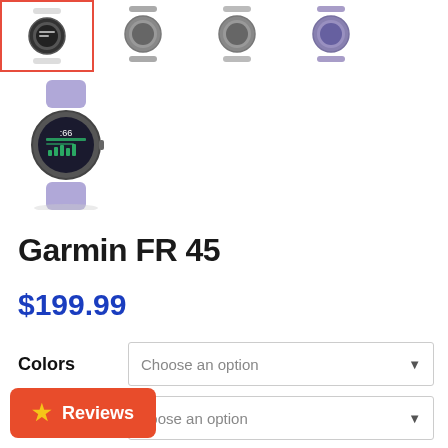[Figure (screenshot): Row of four smartwatch thumbnail images at the top of a product page. First thumbnail is selected with a red border (white/black band watch), followed by gray band watches and a lavender band watch.]
[Figure (photo): Garmin Forerunner 45 smartwatch with lavender/purple band, showing fitness data on watch face, displayed as main product image on the left side.]
Garmin FR 45
$199.99
Colors  Choose an option
Size  Choose an option
Reviews